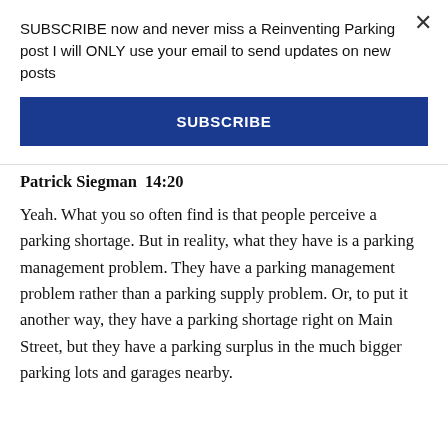SUBSCRIBE now and never miss a Reinventing Parking post I will ONLY use your email to send updates on new posts
SUBSCRIBE
Patrick Siegman  14:20
Yeah. What you so often find is that people perceive a parking shortage. But in reality, what they have is a parking management problem. They have a parking management problem rather than a parking supply problem. Or, to put it another way, they have a parking shortage right on Main Street, but they have a parking surplus in the much bigger parking lots and garages nearby.